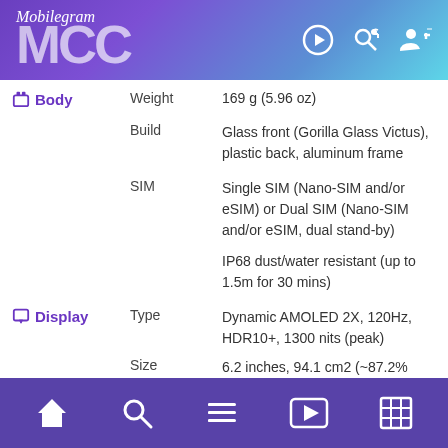Mobilesrum / MCC logo header with navigation icons
| Category | Attribute | Value |
| --- | --- | --- |
| Body | Weight | 169 g (5.96 oz) |
|  | Build | Glass front (Gorilla Glass Victus), plastic back, aluminum frame |
|  | SIM | Single SIM (Nano-SIM and/or eSIM) or Dual SIM (Nano-SIM and/or eSIM, dual stand-by) |
|  |  | IP68 dust/water resistant (up to 1.5m for 30 mins) |
| Display | Type | Dynamic AMOLED 2X, 120Hz, HDR10+, 1300 nits (peak) |
|  | Size | 6.2 inches, 94.1 cm2 (~87.2% screen-to-body ratio) |
Navigation bar with home, search, list, video, and table icons